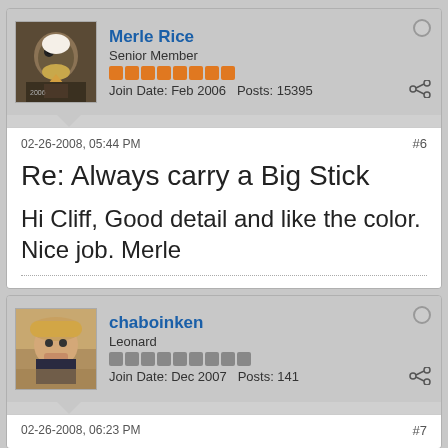[Figure (photo): Eagle avatar photo for user Merle Rice]
Merle Rice
Senior Member
Join Date: Feb 2006   Posts: 15395
02-26-2008, 05:44 PM
#6
Re: Always carry a Big Stick
Hi Cliff, Good detail and like the color. Nice job. Merle
[Figure (photo): Profile photo of user chaboinken - man with straw hat]
chaboinken
Leonard
Join Date: Dec 2007   Posts: 141
02-26-2008, 06:23 PM
#7